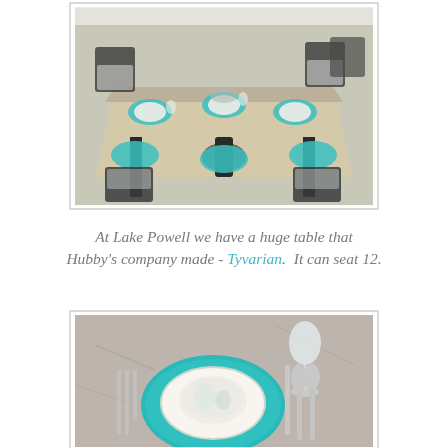[Figure (photo): An outdoor dining table that seats 12, with turquoise placemats and black ornate metal legs, surrounded by dark garden chairs, set under a tent or canopy.]
At Lake Powell we have a huge table that Hubby's company made - Tyvarian.  It can seat 12.
[Figure (photo): A close-up of a table place setting with a round turquoise woven charger plate, decorative ocean/mermaid themed dinnerware stacked on top, crystal wine glass, and silver cutlery.]